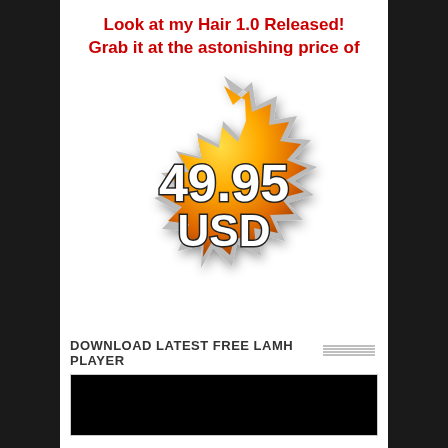Look at my Hair 1.0 Released! Grab it at the astonishing price of
[Figure (infographic): Gold/orange starburst badge with price 49.95 USD in bold white text with dark outline]
DOWNLOAD LATEST FREE LAMH PLAYER
[Figure (screenshot): Black video player thumbnail]